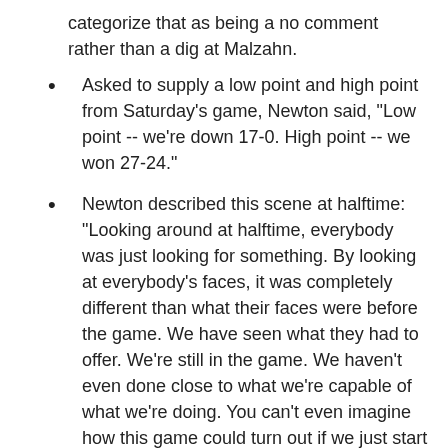categorize that as being a no comment rather than a dig at Malzahn.
Asked to supply a low point and high point from Saturday's game, Newton said, "Low point -- we're down 17-0. High point -- we won 27-24."
Newton described this scene at halftime: "Looking around at halftime, everybody was just looking for something. By looking at everybody's faces, it was completely different than what their faces were before the game. We have seen what they had to offer. We're still in the game. We haven't even done close to what we're capable of what we're doing. You can't even imagine how this game could turn out if we just start being accountable for what we're doing. Everybody has an excuse. Mine was: We've got the next drive. The days for those, for that statement, is over. Everybody has to be accountable and step up to the plate and do their job."
The line's out: Auburn is favored by 2.5 at some